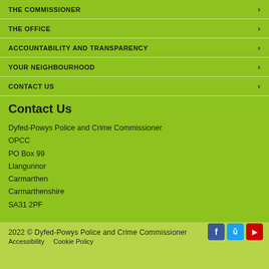THE COMMISSIONER
THE OFFICE
ACCOUNTABILITY AND TRANSPARENCY
YOUR NEIGHBOURHOOD
CONTACT US
Contact Us
Dyfed-Powys Police and Crime Commissioner
OPCC
PO Box 99
Llangunnor
Carmarthen
Carmarthenshire
SA31 2PF
2022 © Dyfed-Powys Police and Crime Commissioner
Accessibility   Cookie Policy